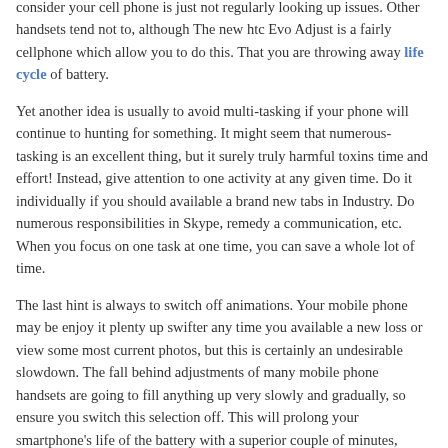consider your cell phone is just not regularly looking up issues. Other handsets tend not to, although The new htc Evo Adjust is a fairly cellphone which allow you to do this. That you are throwing away life cycle of battery.
Yet another idea is usually to avoid multi-tasking if your phone will continue to hunting for something. It might seem that numerous-tasking is an excellent thing, but it surely truly harmful toxins time and effort! Instead, give attention to one activity at any given time. Do it individually if you should available a brand new tabs in Industry. Do numerous responsibilities in Skype, remedy a communication, etc. When you focus on one task at one time, you can save a whole lot of time.
The last hint is always to switch off animations. Your mobile phone may be enjoy it plenty up swifter any time you available a new loss or view some most current photos, but this is certainly an undesirable slowdown. The fall behind adjustments of many mobile phone handsets are going to fill anything up very slowly and gradually, so ensure you switch this selection off. This will prolong your smartphone's life of the battery with a superior couple of minutes, which happens to be pleasant.